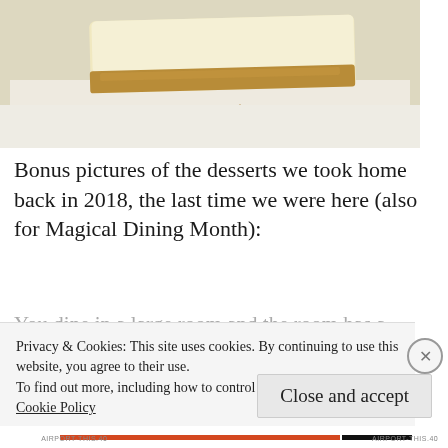[Figure (photo): Close-up photo of a slice of cheesecake on a white plate, showing the creamy top layer and golden graham cracker crust.]
Bonus pictures of the desserts we took home back in 2018, the last time we were here (also for Magical Dining Month):
Privacy & Cookies: This site uses cookies. By continuing to use this website, you agree to their use.
To find out more, including how to control cookies, see here:
Cookie Policy
Close and accept